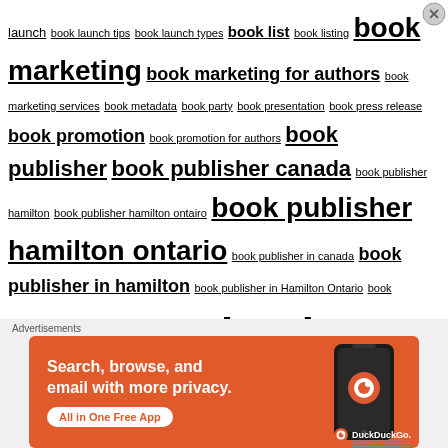launch book launch tips book launch types book list book listing book marketing book marketing for authors book marketing services book metadata book party book presentation book press release book promotion book promotion for authors book publisher book publisher canada book publisher hamilton book publisher hamilton ontairo book publisher hamilton ontario book publisher in canada book publisher in hamilton book publisher in Hamilton Ontario book publisher in the us book publisher local book publisher near me book publisher ontario book publishers in hamilton book publisher united states book publisher us book publisher usa book publishing book publishing near me book recommendation book recommendations book research book review book reviews books books about animals
[Figure (other): DuckDuckGo advertisement banner with orange background showing 'Search, browse, and email with more privacy. All in One Free App' with a phone graphic and DuckDuckGo logo]